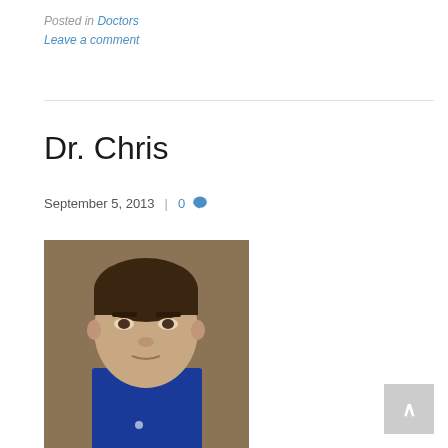Posted in Doctors
Leave a comment
Dr. Chris
September 5, 2013 | 0
[Figure (photo): Portrait photo of Dr. Chris, a man in a blue button-up shirt against a brown/tan background, looking slightly upward]
[Figure (other): Back to top button with upward arrow]